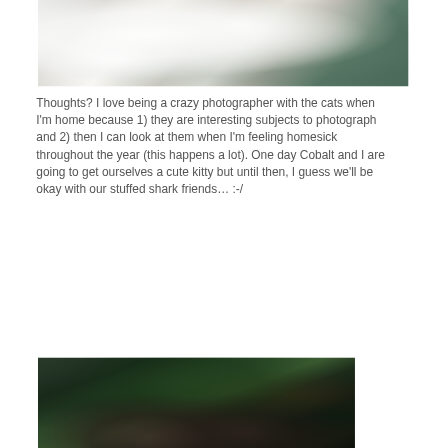[Figure (photo): Close-up photo of a fluffy white cat with soft fur, shot with shallow depth of field against a teal/dark background]
Thoughts? I love being a crazy photographer with the cats when I'm home because 1) they are interesting subjects to photograph and 2) then I can look at them when I'm feeling homesick throughout the year (this happens a lot). One day Cobalt and I are going to get ourselves a cute kitty but until then, I guess we'll be okay with our stuffed shark friends… :-/
[Figure (photo): Photo of a young couple (man with dark hair and woman with curly dark hair) in front of a Christmas tree with lights and decorations]